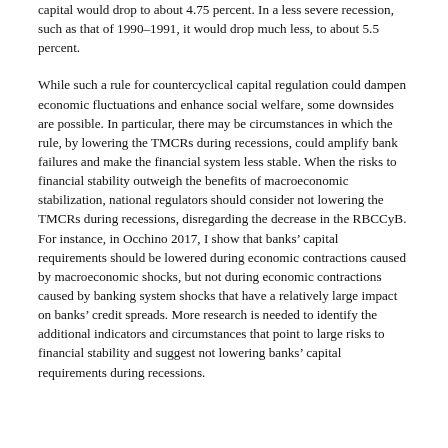severe recession, such as that of 1981–1991, the required CET1 capital would drop to about 4.75 percent. In a less severe recession, such as that of 1990–1991, it would drop much less, to about 5.5 percent.
While such a rule for countercyclical capital regulation could dampen economic fluctuations and enhance social welfare, some downsides are possible. In particular, there may be circumstances in which the rule, by lowering the TMCRs during recessions, could amplify bank failures and make the financial system less stable. When the risks to financial stability outweigh the benefits of macroeconomic stabilization, national regulators should consider not lowering the TMCRs during recessions, disregarding the decrease in the RBCCyB. For instance, in Occhino 2017, I show that banks' capital requirements should be lowered during economic contractions caused by macroeconomic shocks, but not during economic contractions caused by banking system shocks that have a relatively large impact on banks' credit spreads. More research is needed to identify the additional indicators and circumstances that point to large risks to financial stability and suggest not lowering banks' capital requirements during recessions.